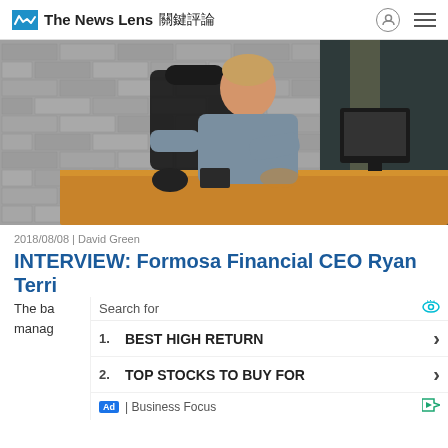The News Lens 關鍵評論
[Figure (photo): Man in grey shirt sitting at a wooden desk in an office with a brick wall background, smiling at camera. Computer monitor and various items on desk.]
2018/08/08 | David Green
INTERVIEW: Formosa Financial CEO Ryan Terri
Search for
1. BEST HIGH RETURN
2. TOP STOCKS TO BUY FOR
Ad | Business Focus
The ba risk manag e.